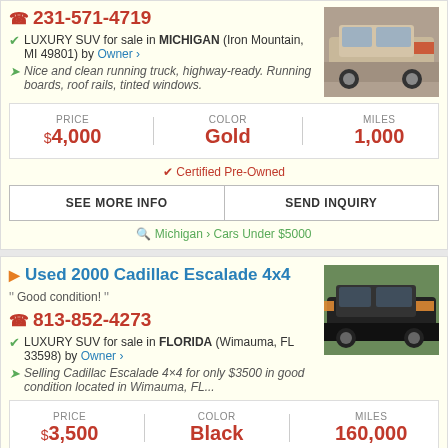231-571-4719
LUXURY SUV for sale in MICHIGAN (Iron Mountain, MI 49801) by Owner
Nice and clean running truck, highway-ready. Running boards, roof rails, tinted windows.
| PRICE | COLOR | MILES |
| --- | --- | --- |
| $4,000 | Gold | 1,000 |
Certified Pre-Owned
SEE MORE INFO | SEND INQUIRY
Michigan > Cars Under $5000
Used 2000 Cadillac Escalade 4x4
Good condition!
813-852-4273
LUXURY SUV for sale in FLORIDA (Wimauma, FL 33598) by Owner
Selling Cadillac Escalade 4×4 for only $3500 in good condition located in Wimauma, FL...
| PRICE | COLOR | MILES |
| --- | --- | --- |
| $3,500 | Black | 160,000 |